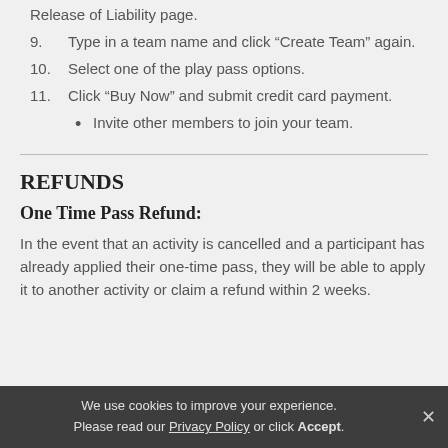Release of Liability page.
9. Type in a team name and click “Create Team” again.
10. Select one of the play pass options.
11. Click “Buy Now” and submit credit card payment.
Invite other members to join your team.
REFUNDS
One Time Pass Refund:
In the event that an activity is cancelled and a participant has already applied their one-time pass, they will be able to apply it to another activity or claim a refund within 2 weeks.
We use cookies to improve your experience. Please read our Privacy Policy or click Accept.